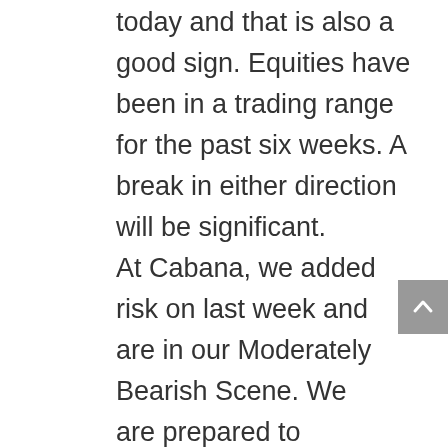today and that is also a good sign. Equities have been in a trading range for the past six weeks. A break in either direction will be significant.
At Cabana, we added risk on last week and are in our Moderately Bearish Scene. We are prepared to respond should the market move in either direction.
IMPORTANT DISCLAIMERS
This material is prepared by Cabana LLC, dba Cabana Asset